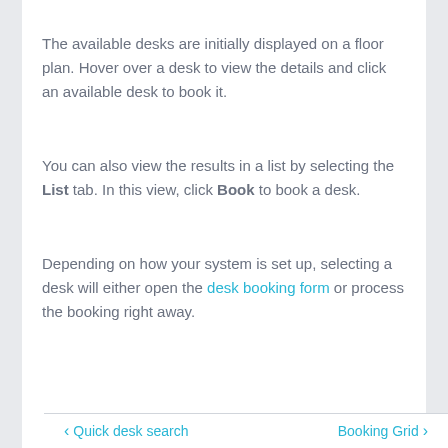The available desks are initially displayed on a floor plan. Hover over a desk to view the details and click an available desk to book it.
You can also view the results in a list by selecting the List tab. In this view, click Book to book a desk.
Depending on how your system is set up, selecting a desk will either open the desk booking form or process the booking right away.
◀ Quick desk search    Booking Grid ▶